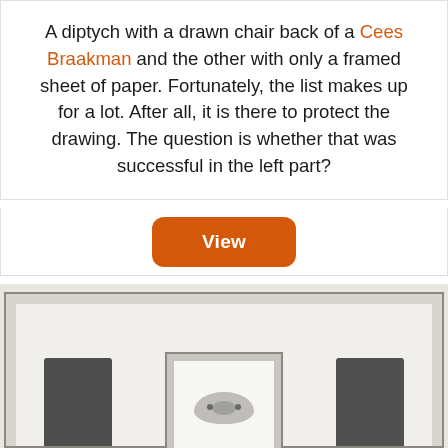A diptych with a drawn chair back of a Cees Braakman and the other with only a framed sheet of paper. Fortunately, the list makes up for a lot. After all, it is there to protect the drawing. The question is whether that was successful in the left part?
[Figure (other): Button labeled 'View' with orange rounded rectangle background]
[Figure (photo): Photo of a diptych artwork showing two framed pieces: on the left a drawn chair back, and on the right a framed sheet of paper, displayed against a light wall. Chair backs visible in foreground.]